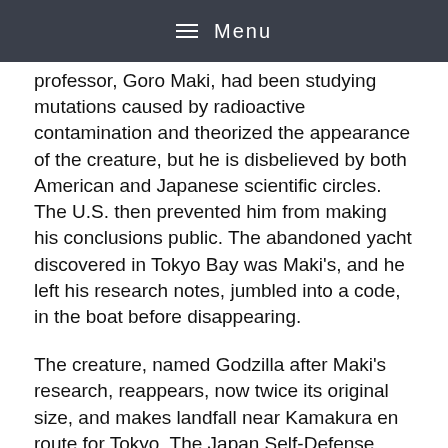Menu
professor, Goro Maki, had been studying mutations caused by radioactive contamination and theorized the appearance of the creature, but he is disbelieved by both American and Japanese scientific circles. The U.S. then prevented him from making his conclusions public. The abandoned yacht discovered in Tokyo Bay was Maki's, and he left his research notes, jumbled into a code, in the boat before disappearing.
The creature, named Godzilla after Maki's research, reappears, now twice its original size, and makes landfall near Kamakura en route for Tokyo. The Japan Self-Defense Forces mobilize, but their attacks have no effect and they are forced to withdraw when Godzilla breaks through their defenses into the city. The U.S. intervenes with a massively-destructive air strike plan, prompting the evacuation of civilians and government